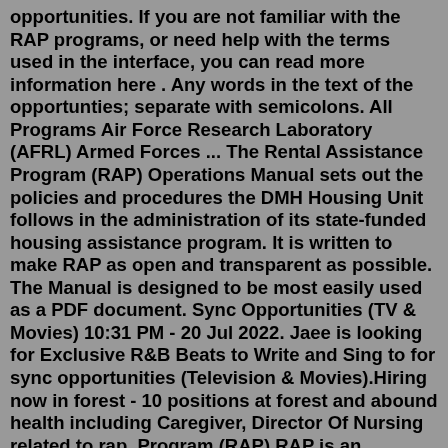opportunities. If you are not familiar with the RAP programs, or need help with the terms used in the interface, you can read more information here . Any words in the text of the opportunties; separate with semicolons. All Programs Air Force Research Laboratory (AFRL) Armed Forces ... The Rental Assistance Program (RAP) Operations Manual sets out the policies and procedures the DMH Housing Unit follows in the administration of its state-funded housing assistance program. It is written to make RAP as open and transparent as possible. The Manual is designed to be most easily used as a PDF document. Sync Opportunities (TV & Movies) 10:31 PM - 20 Jul 2022. Jaee is looking for Exclusive R&B Beats to Write and Sing to for sync opportunities (Television & Movies).Hiring now in forest - 10 positions at forest and abound health including Caregiver, Director Of Nursing related to rap. Program (RAP) RAP is an apprenticeship program for students interested in learning the fundamentals